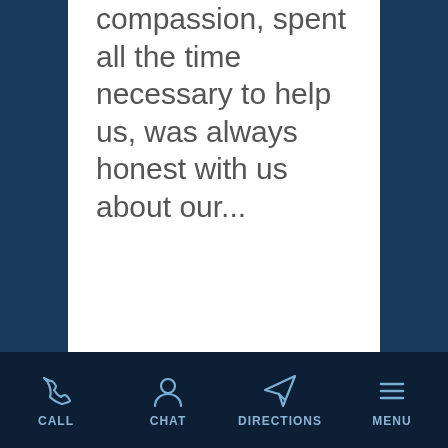compassion, spent all the time necessary to help us, was always honest with us about our...
A Grateful Client Talks
CALL  CHAT  DIRECTIONS  MENU